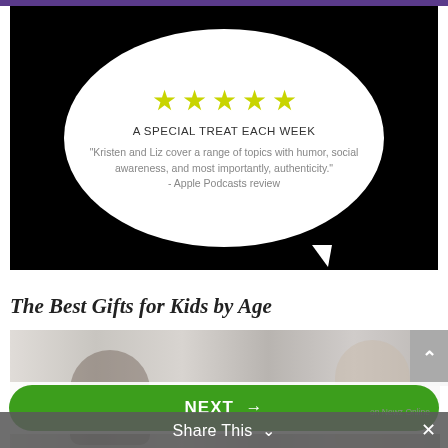[Figure (illustration): Podcast advertisement card on black background featuring a white speech bubble with five yellow stars, text 'A SPECIAL TREAT EACH WEEK' and a quote from Apple Podcasts review: 'Kristen and Liz cover a range of topics with humor, social awareness, and most importantly, authenticity.' - Apple Podcasts review]
The Best Gifts for Kids by Age
[Figure (photo): Photo of two children, a boy and a girl with blonde hair, looking down at something, with a decorative background]
[Figure (screenshot): Green Next button with arrow and 'on Newz Online' label below]
Share This ∨   ×